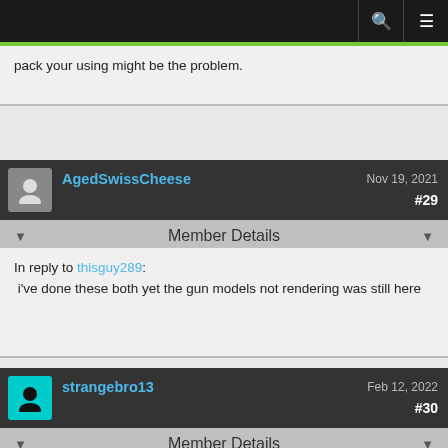Navigation bar with search and menu icons
pack your using might be the problem.
AgedSwissCheese  Nov 19, 2021  #29
Member Details
In reply to thisguy289: i've done these both yet the gun models not rendering was still here
strangebro13  Feb 12, 2022  #30
Member Details